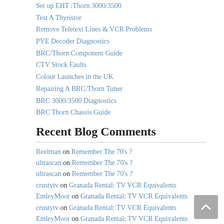Set up EHT :Thorn 3000/3500
Test A Thyristor
Remove Teletext Lines & VCR Problems
PYE Decoder Diagnostics
BRC/Thorn Component Guide
CTV Stock Faults
Colour Launches in the UK
Repairing A BRC/Thorn Tuner
BRC 3000/3500 Diagnostics
BRC Thorn Chassis Guide
Recent Blog Comments
Reelman on Remember The 70's ?
ultrascan on Remember The 70's ?
ultrascan on Remember The 70's ?
crustytv on Granada Rental: TV VCR Equivalents
EmleyMoor on Granada Rental: TV VCR Equivalents
crustytv on Granada Rental: TV VCR Equivalents
EmleyMoor on Granada Rental: TV VCR Equivalents
Reelman on Philips VR2022 : Video 2000
Reelman on GEC Music Centre Range
crustytv on 1977 Philips N1700